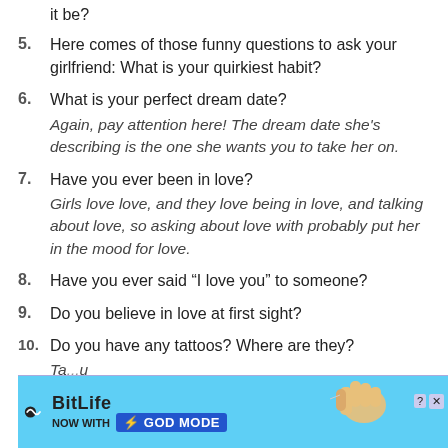it be?
5. Here comes of those funny questions to ask your girlfriend: What is your quirkiest habit?
6. What is your perfect dream date? Again, pay attention here! The dream date she’s describing is the one she wants you to take her on.
7. Have you ever been in love? Girls love love, and they love being in love, and talking about love, so asking about love with probably put her in the mood for love.
8. Have you ever said “I love you” to someone?
9. Do you believe in love at first sight?
10. Do you have any tattoos? Where are they? Ta... you thi...
[Figure (other): BitLife advertisement banner with 'NOW WITH GOD MODE' text and hand/lightning graphics]